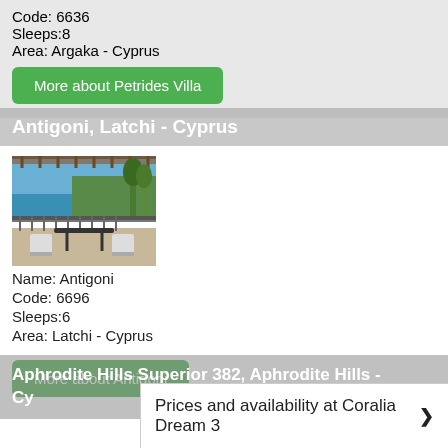Code: 6636
Sleeps:8
Area: Argaka - Cyprus
More about Petrides Villa
Antigoni, Latchi - Cyprus
[Figure (photo): Balcony/terrace view overlooking the sea, with chairs and table, trees and railing visible]
Name: Antigoni
Code: 6696
Sleeps:6
Area: Latchi - Cyprus
More about Antigoni
Aphrodite Hills Superior 382, Aphrodite Hills - Cyprus
Prices and availability at Coralia Dream 3 ❯